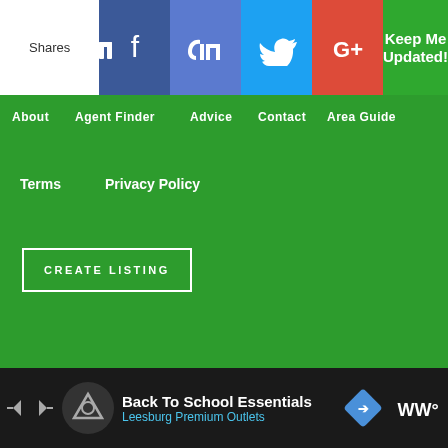Shares | Facebook | Like | Twitter | G+ | Keep Me Updated!
About
Agent Finder
Advice
Contact
Area Guide
Terms
Privacy Policy
CREATE LISTING
© Perfect Property IE 2022. All Rights Reserved.
Exclusive Member of Mediavine Home
[Figure (logo): Social media icons: Instagram, Facebook, YouTube]
Back To School Essentials Leesburg Premium Outlets